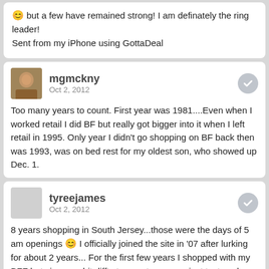😊 but a few have remained strong! I am definately the ring leader!
Sent from my iPhone using GottaDeal
mgmckny
Oct 2, 2012
Too many years to count. First year was 1981....Even when I worked retail I did BF but really got bigger into it when I left retail in 1995. Only year I didn't go shopping on BF back then was 1993, was on bed rest for my oldest son, who showed up Dec. 1.
tyreejames
Oct 2, 2012
8 years shopping in South Jersey...those were the days of 5 am openings 😊 I officially joined the site in '07 after lurking for about 2 years... For the first few years I shopped with my BFF but since we hit difft stores, etc now we just text each other throughout the night.
BFQueenofNY
Oct 2, 2012
I'm Vicki BF addict for 18 years. This year my shopping is in a new city with different challenges but should be fun all the same 😊 Been on